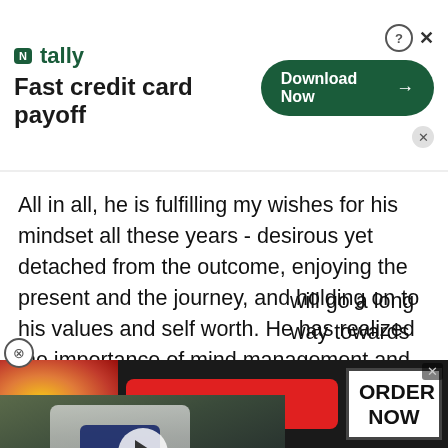[Figure (screenshot): Tally app advertisement banner: logo with 'tally' name, tagline 'Fast credit card payoff', green 'Download Now' button with arrow, help and close icons.]
All in all, he is fulfilling my wishes for his mindset all these years - desirous yet detached from the outcome, enjoying the present and the journey, and holding on to his values and self worth. He has realized the importance of mind management and has learned some techniques so I hope he applies them well during competition performances, with relaxed fo... fi... ving in the moment and ...utting out everything and ... will go a long way towards
[Figure (screenshot): Embedded video thumbnail showing a person in a white outfit and Olympic cap with a face mask, in an outdoor parking area. White play button circle overlay in center.]
[Figure (screenshot): Seamless food delivery advertisement: pizza image on left, red 'seamless' button in center, white 'ORDER NOW' button on right, dark background.]